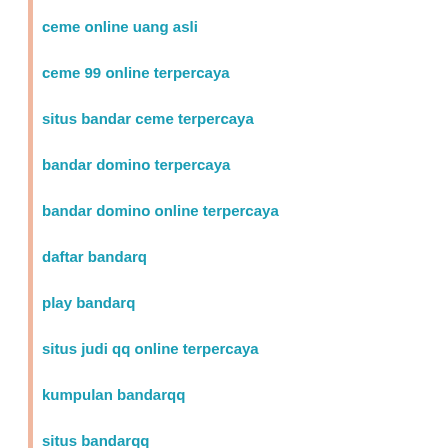ceme online uang asli
ceme 99 online terpercaya
situs bandar ceme terpercaya
bandar domino terpercaya
bandar domino online terpercaya
daftar bandarq
play bandarq
situs judi qq online terpercaya
kumpulan bandarqq
situs bandarqq